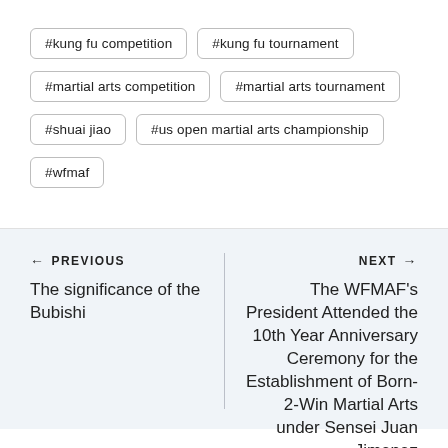#kung fu competition
#kung fu tournament
#martial arts competition
#martial arts tournament
#shuai jiao
#us open martial arts championship
#wfmaf
← PREVIOUS
The significance of the Bubishi
NEXT →
The WFMAF's President Attended the 10th Year Anniversary Ceremony for the Establishment of Born-2-Win Martial Arts under Sensei Juan Jimenez